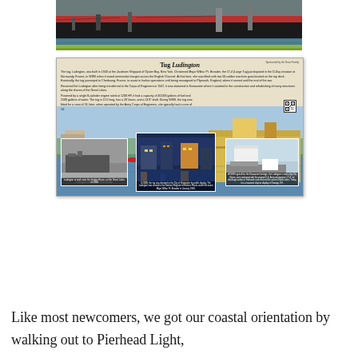[Figure (photo): Top photograph showing large dark ship hull docked, with red stripe and industrial structures visible. Water and green shoreline in background.]
[Figure (photo): Interpretive sign/placard for 'Tug Ludington' with title, descriptive text paragraphs about the tug's history, and three photographs at the bottom showing the tug in different eras and locations.]
Like most newcomers, we got our coastal orientation by walking out to Pierhead Light,